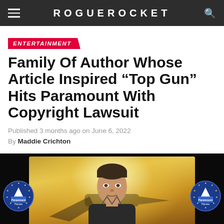ROGUE ROCKET
ENTERTAINMENT
Family Of Author Whose Article Inspired “Top Gun” Hits Paramount With Copyright Lawsuit
Published 3 months ago on June 6, 2022
By Maddie Crichton
[Figure (photo): Movie promotional image showing a male actor in a flight suit against a warm golden-lit background, flanked on both sides by Paramount Pictures circular logo signs with blue star rings.]